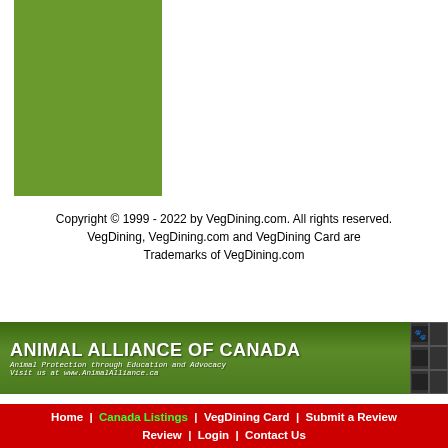[Figure (other): Green rectangle/box placeholder image]
Copyright © 1999 - 2022 by VegDining.com. All rights reserved.
VegDining, VegDining.com and VegDining Card are Trademarks of VegDining.com
[Figure (illustration): Animal Alliance of Canada banner with green background, animals, and text: ANIMAL ALLIANCE OF CANADA, Animal Protection through Education and Advocacy, Visit us at www.AnimalAlliance.ca]
Home | Canada Listings | VegDining Card | Submit a Review | Login | Contact Us